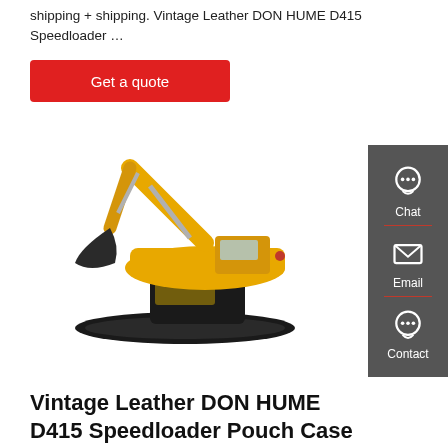shipping + shipping. Vintage Leather DON HUME D415 Speedloader ...
[Figure (other): Red 'Get a quote' button]
[Figure (photo): Yellow excavator/construction machine on white background]
[Figure (infographic): Dark grey sidebar with Chat, Email, and Contact icons]
Vintage Leather DON HUME D415 Speedloader Pouch Case